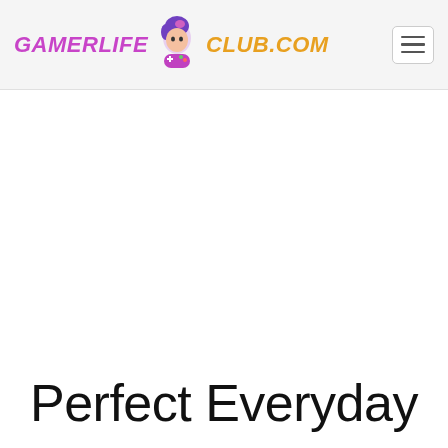GAMERLIFE CLUB.COM
Perfect Everyday